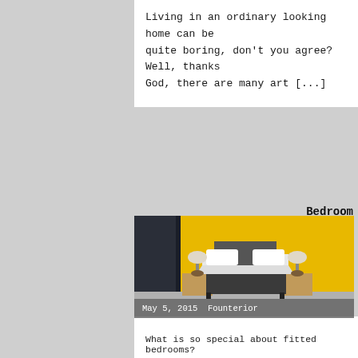Living in an ordinary looking home can be quite boring, don't you agree? Well, thanks God, there are many art [...]
[Figure (photo): Modern bedroom with yellow wall, double bed with white bedding, two wooden bedside tables with lamps, dark wardrobe on left]
May 5, 2015  Founterior
Bedroom
Ideas for Fitted Beds, Wardrobes, Cabinets
What is so special about fitted bedrooms?